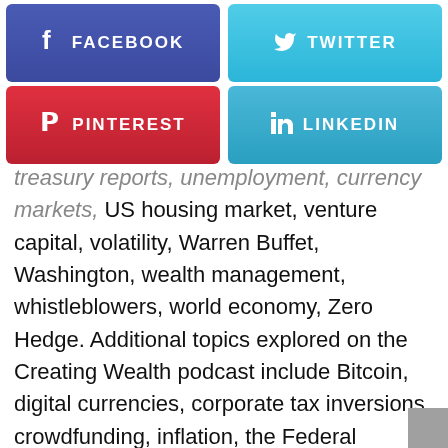[Figure (infographic): Social media share buttons: Facebook (purple-blue), Twitter (light blue), Pinterest (red), LinkedIn (blue)]
treasury reports, unemployment, currency markets, US housing market, venture capital, volatility, Warren Buffet, Washington, wealth management, whistleblowers, world economy, Zero Hedge. Additional topics explored on the Creating Wealth podcast include Bitcoin, digital currencies, corporate tax inversions, crowdfunding, inflation, the Federal Reserve, student loan debt, monetary policy, economic challenges facing generation Y, solar energy, 3D printing, medical technology, US dollar, currency exchange, plunging bond rates, personal and commercial bankruptcy, the cost of a college